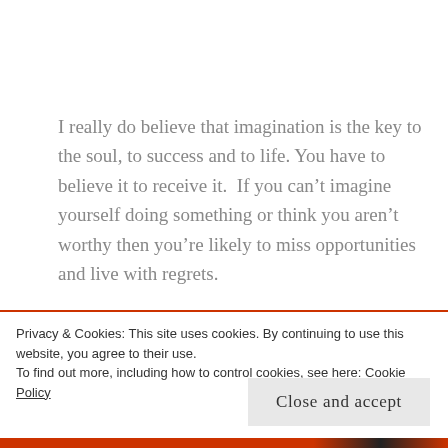I really do believe that imagination is the key to the soul, to success and to life. You have to believe it to receive it.  If you can't imagine yourself doing something or think you aren't worthy then you're likely to miss opportunities and live with regrets.
If you are a natural worrier – harness that energy and use it to fuel your imagination, rather than the 'what
Privacy & Cookies: This site uses cookies. By continuing to use this website, you agree to their use.
To find out more, including how to control cookies, see here: Cookie Policy
Close and accept